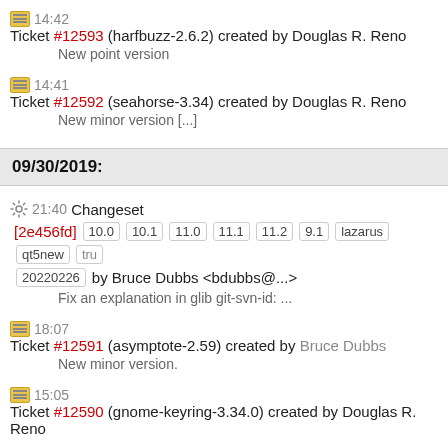14:42 Ticket #12593 (harfbuzz-2.6.2) created by Douglas R. Reno
New point version
14:41 Ticket #12592 (seahorse-3.34) created by Douglas R. Reno
New minor version [...]
09/30/2019:
21:40 Changeset [2e456fd] 10.0 10.1 11.0 11.1 11.2 9.1 lazarus qt5new tru 20220226 by Bruce Dubbs <bdubbs@...>
Fix an explanation in glib git-svn-id: ...
18:07 Ticket #12591 (asymptote-2.59) created by Bruce Dubbs
New minor version.
15:05 Ticket #12590 (gnome-keyring-3.34.0) created by Douglas R. Reno